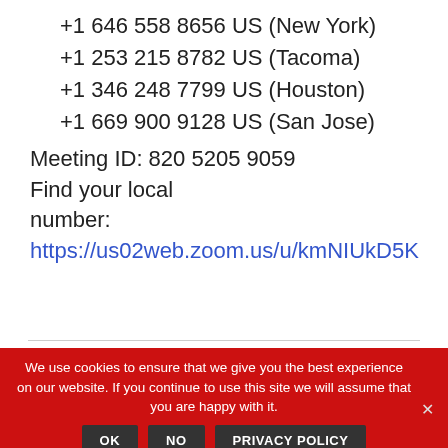+1 646 558 8656 US (New York)
+1 253 215 8782 US (Tacoma)
+1 346 248 7799 US (Houston)
+1 669 900 9128 US (San Jose)
Meeting ID: 820 5205 9059
Find your local number: https://us02web.zoom.us/u/kmNIUkD5K
We use cookies to ensure that we give you the best experience on our website. If you continue to use this site we will assume that you are happy with it.